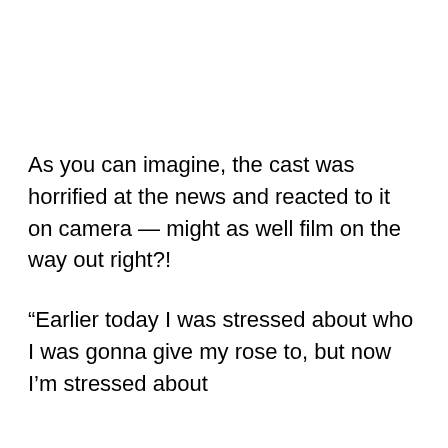As you can imagine, the cast was horrified at the news and reacted to it on camera — might as well film on the way out right?!
“Earlier today I was stressed about who I was gonna give my rose to, but now I’m stressed about